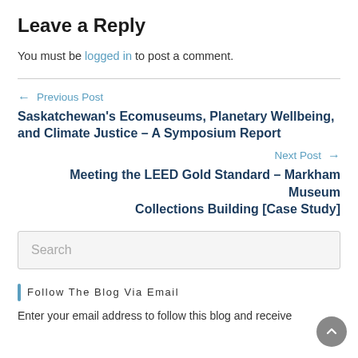Leave a Reply
You must be logged in to post a comment.
← Previous Post
Saskatchewan's Ecomuseums, Planetary Wellbeing, and Climate Justice – A Symposium Report
Next Post →
Meeting the LEED Gold Standard – Markham Museum Collections Building [Case Study]
Search
Follow The Blog Via Email
Enter your email address to follow this blog and receive